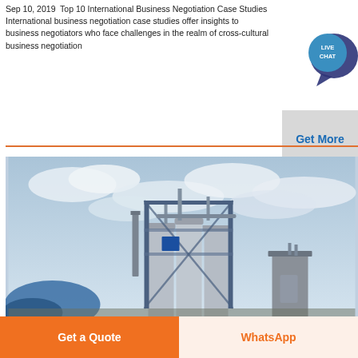Sep 10, 2019  Top 10 International Business Negotiation Case Studies International business negotiation case studies offer insights to business negotiators who face challenges in the realm of cross-cultural business negotiation
[Figure (other): Live Chat speech bubble widget with blue circle showing 'LIVE CHAT' text and a Get More button below it]
[Figure (photo): Industrial plant with tall cylindrical silos and metal scaffolding structures against a cloudy sky, with a blue tarp visible on the left]
Get a Quote
WhatsApp